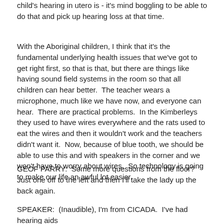child's hearing in utero is - it's mind boggling to be able to do that and pick up hearing loss at that time.
With the Aboriginal children, I think that it's the fundamental underlying health issues that we've got to get right first, so that is that, but there are things like having sound field systems in the room so that all children can hear better.  The teacher wears a microphone, much like we have now, and everyone can hear.  There are practical problems.  In the Kimberleys they used to have wires everywhere and the rats used to eat the wires and then it wouldn't work and the teachers didn't want it.  Now, because of blue tooth, we should be able to use this and with speakers in the corner and we won't have to worry about wires.  So technology is going to make our life an awful lot easier.
GEOF PARRY:  Some more questions from the floor?  Just one off to the left and then I'll take the lady up the back again.
SPEAKER:  (Inaudible), I'm from CICADA.  I've had hearing aids